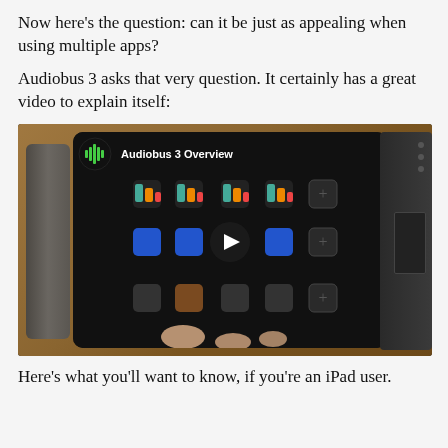Now here’s the question: can it be just as appealing when using multiple apps?
Audiobus 3 asks that very question. It certainly has a great video to explain itself:
[Figure (screenshot): A video thumbnail/screenshot showing the Audiobus 3 Overview video. A tablet displaying the Audiobus 3 app interface with a play button overlay in the center. The tablet shows a grid of app icons with mixing controls. To the left is a cable and to the right is an audio device. Hands are visible touching the tablet screen at the bottom.]
Here’s what you’ll want to know, if you’re an iPad user.